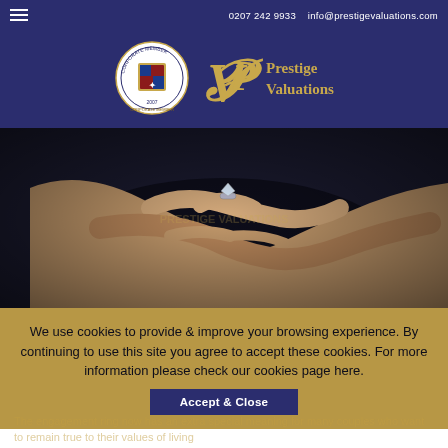0207 242 9933   info@prestigevaluations.com
[Figure (logo): Prestige Valuations logo with corporate member seal and gold VP monogram]
[Figure (photo): Close-up photo of two hands, one with a diamond ring on the finger, against a dark background]
We use cookies to provide & improve your browsing experience. By continuing to use this site you agree to accept these cookies. For more information please check our cookies page here.
Accept & Close
The engagement ring now has an extra special meaning for many couples who want to remain true to their values of living